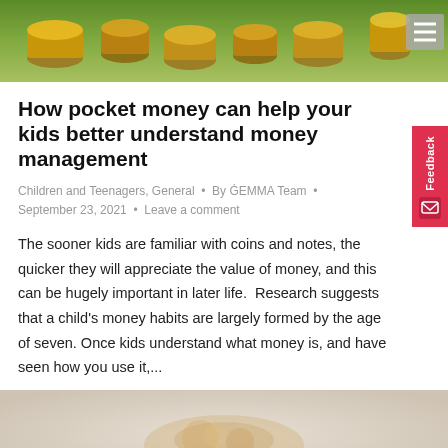[Figure (photo): Top banner image of stacked coins with green background, with hamburger menu icon in top right corner]
How pocket money can help your kids better understand money management
Children and Teenagers, General • By ĠEMMA Team • September 23, 2021 • Leave a comment
The sooner kids are familiar with coins and notes, the quicker they will appreciate the value of money, and this can be hugely important in later life.  Research suggests that a child's money habits are largely formed by the age of seven. Once kids understand what money is, and have seen how you use it,...
[Figure (photo): Bottom partial image showing coins or money-related content on a light background]